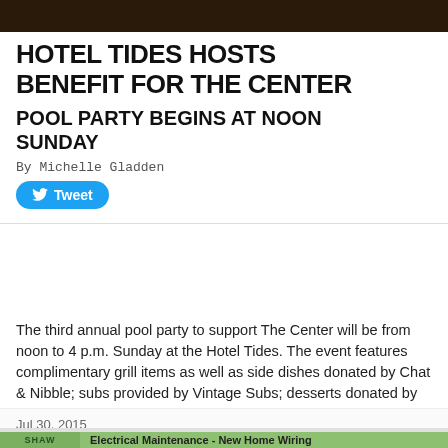[Figure (photo): Dark colored header image, appears to be a hotel or outdoor scene]
HOTEL TIDES HOSTS BENEFIT FOR THE CENTER
POOL PARTY BEGINS AT NOON SUNDAY
By Michelle Gladden
Tweet
The third annual pool party to support The Center will be from noon to 4 p.m. Sunday at the Hotel Tides. The event features complimentary grill items as well as side dishes donated by Chat & Nibble; subs provided by Vintage Subs; desserts donated by Confections of a Rockstar; an iced coffee station provided by Asbury Park [...]
Read more →
Jul 30, 2015
[Figure (illustration): Green advertisement banner with a circular logo reading SHAW and text: Electrical Maintenance - New Home Wiring]